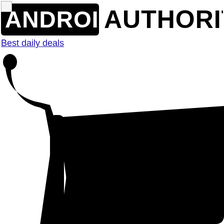[Figure (logo): Android Authority logo: black rounded rectangle with white bold text 'ANDROID' on the left, and bold black text 'AUTHORITY' to the right]
Best daily deals
[Figure (illustration): Large black silhouette of a shopping cart, cropped so only the upper-left portion (handle, top bar, and front basket body) is visible, extending beyond the bottom of the page]